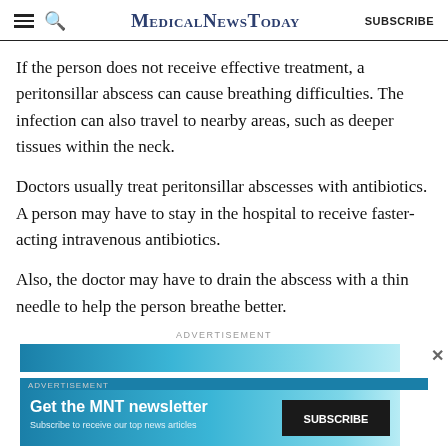MedicalNewsToday — SUBSCRIBE
If the person does not receive effective treatment, a peritonsillar abscess can cause breathing difficulties. The infection can also travel to nearby areas, such as deeper tissues within the neck.
Doctors usually treat peritonsillar abscesses with antibiotics. A person may have to stay in the hospital to receive faster-acting intravenous antibiotics.
Also, the doctor may have to drain the abscess with a thin needle to help the person breathe better.
ADVERTISEMENT
[Figure (other): Advertisement banner strip with teal/blue gradient]
ADVERTISEMENT
[Figure (other): MNT newsletter subscription advertisement with blue gradient background, headline 'Get the MNT newsletter', subtext 'Subscribe to receive our top news articles', and SUBSCRIBE button]